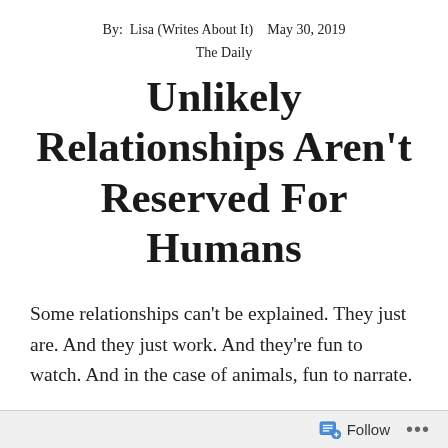By: Lisa (Writes About It)   May 30, 2019
The Daily
Unlikely Relationships Aren't Reserved For Humans
Some relationships can't be explained. They just are. And they just work. And they're fun to watch. And in the case of animals, fun to narrate.
Like our dogs.
They are at once best friends and rivals. The